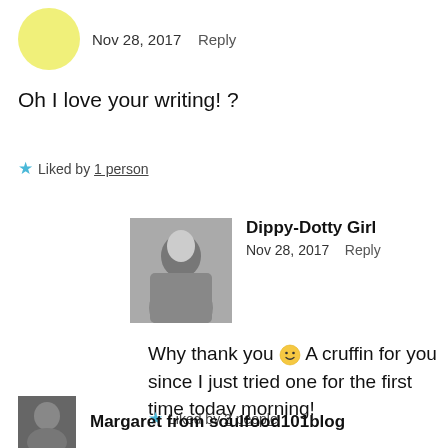Nov 28, 2017   Reply
Oh I love your writing! ?
★ Liked by 1 person
Dippy-Dotty Girl
Nov 28, 2017   Reply
Why thank you 🙂 A cruffin for you since I just tried one for the first time today morning!
★ Liked by 2 people
Margaret from soulfood101blog